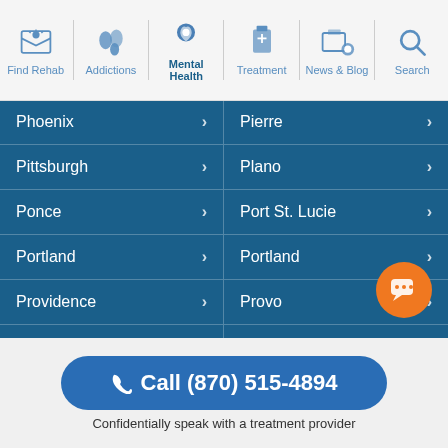Find Rehab | Addictions | Mental Health | Treatment | News & Blog | Search
Phoenix >
Pierre >
Pittsburgh >
Plano >
Ponce >
Port St. Lucie >
Portland >
Portland >
Providence >
Provo >
Raleigh >
Rancho Cucamonga >
Rapid City >
Reno >
Richmond >
Riverside >
Call (870) 515-4894
Confidentially speak with a treatment provider